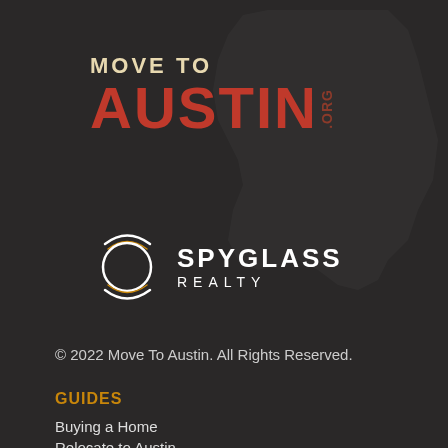[Figure (logo): Move To Austin .org logo with red AUSTIN text and tan MOVE TO text, with Texas state silhouette in background]
[Figure (logo): Spyglass Realty logo with circular lens icon in white/orange and SPYGLASS REALTY text]
© 2022 Move To Austin. All Rights Reserved.
GUIDES
Buying a Home
Relocate to Austin